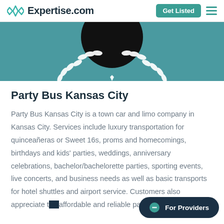Expertise.com
[Figure (illustration): Teal banner with a wreath and circular profile image placeholder (black circle) at top center]
Party Bus Kansas City
Party Bus Kansas City is a town car and limo company in Kansas City. Services include luxury transportation for quinceañeras or Sweet 16s, proms and homecomings, birthdays and kids' parties, weddings, anniversary celebrations, bachelor/bachelorette parties, sporting events, live concerts, and business needs as well as basic transports for hotel shuttles and airport service. Customers also appreciate the affordable and reliable party buses fo...